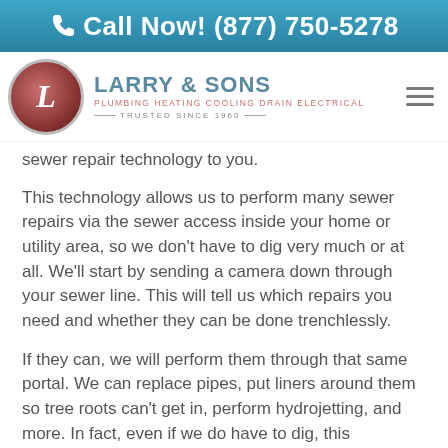Call Now! (877) 750-5278
[Figure (logo): Larry & Sons logo with circular L emblem, subtitle: Plumbing Heating Cooling Drain Electrical, Trusted Since 1960]
sewer repair technology to you.
This technology allows us to perform many sewer repairs via the sewer access inside your home or utility area, so we don't have to dig very much or at all. We'll start by sending a camera down through your sewer line. This will tell us which repairs you need and whether they can be done trenchlessly.
If they can, we will perform them through that same portal. We can replace pipes, put liners around them so tree roots can't get in, perform hydrojetting, and more. In fact, even if we do have to dig, this technology tells us exactly where the problem is so we don't have to dig up the entire pipe to find it.